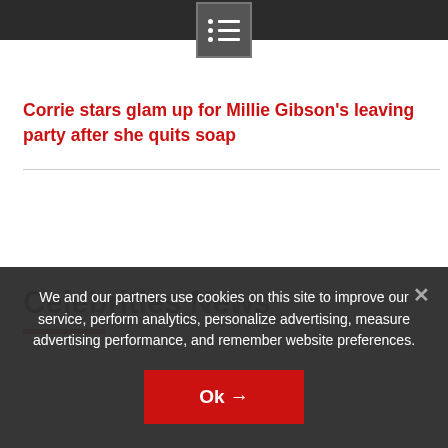Menu button / navigation bar
Corrie stars glam up for Millie Gibson's leaving party after she quits soap
Celebrities News
We and our partners use cookies on this site to improve our service, perform analytics, personalize advertising, measure advertising performance, and remember website preferences.
Ok →